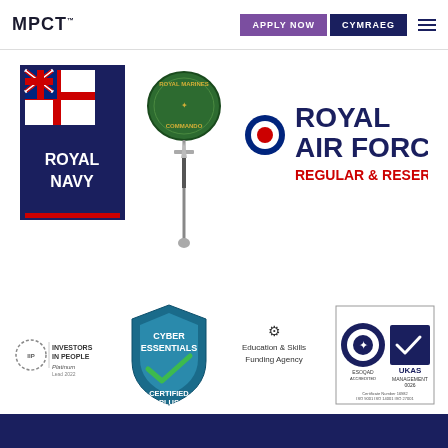MPCT | APPLY NOW | CYMRAEG
[Figure (logo): Royal Navy logo - dark blue background with White Ensign flag and ROYAL NAVY text in white]
[Figure (logo): Royal Marines Commando badge - green oval badge with sword and ROYAL MARINES COMMANDO text]
[Figure (logo): Royal Air Force Regular & Reserve logo - roundel with ROYAL AIR FORCE text and REGULAR & RESERVE in red]
[Figure (logo): Investors in People Platinum logo]
[Figure (logo): Cyber Essentials Certified Plus badge]
[Figure (logo): Education & Skills Funding Agency logo]
[Figure (logo): UKAS Management Systems certification logo - Certificate Number 16982, ISO 9001, ISO 14001, ISO 27001]